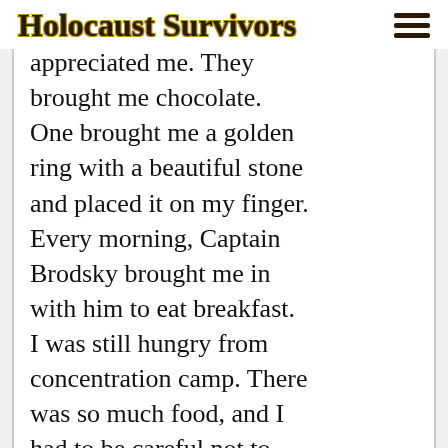Holocaust Survivors
appreciated me. They brought me chocolate. One brought me a golden ring with a beautiful stone and placed it on my finger. Every morning, Captain Brodsky brought me in with him to eat breakfast. I was still hungry from concentration camp. There was so much food, and I had to be careful not to overeat.
One day Captain Brodsky